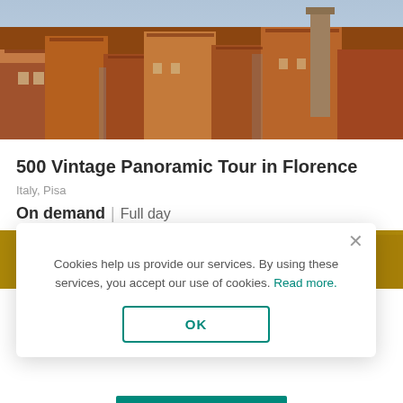[Figure (photo): Aerial panoramic view of Florence rooftops with terracotta tiles and historic buildings]
500 Vintage Panoramic Tour in Florence
Italy, Pisa
On demand | Full day
[Figure (photo): Close-up photo of golden/brown textured surface, partially visible below the overlay]
Cookies help us provide our services. By using these services, you accept our use of cookies. Read more.
OK